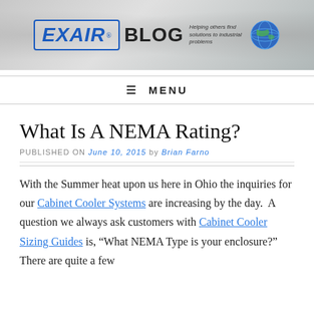[Figure (logo): EXAIR Blog banner header with logo, tagline 'Helping others find solutions to industrial problems', globe graphic, and industrial background imagery]
≡ MENU
What Is A NEMA Rating?
PUBLISHED ON June 10, 2015 by Brian Farno
With the Summer heat upon us here in Ohio the inquiries for our Cabinet Cooler Systems are increasing by the day.  A question we always ask customers with Cabinet Cooler Sizing Guides is, "What NEMA Type is your enclosure?"  There are quite a few